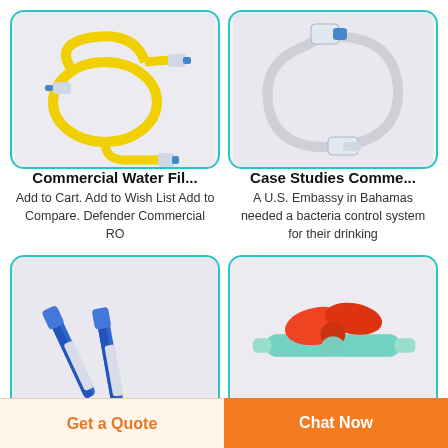[Figure (photo): Yellow medical tubing/filter set with blue connectors coiled on white background]
[Figure (photo): Clear IV tubing loop with connector components on white/grey background]
Commercial Water Fil...
Add to Cart. Add to Wish List Add to Compare. Defender Commercial RO
Case Studies Comme...
A U.S. Embassy in Bahamas needed a bacteria control system for their drinking
[Figure (photo): Two blue syringe/pen-like medical devices crossed on white background]
[Figure (photo): Red and light blue medical stopcock/valve connector on white background]
Get a Quote
Chat Now